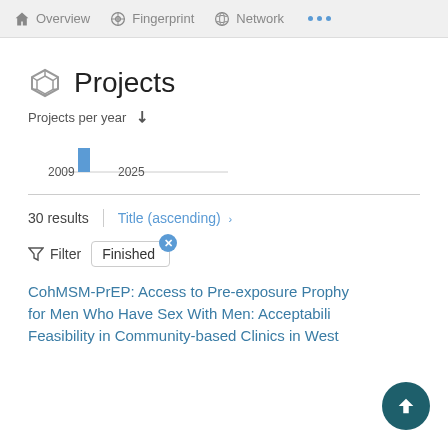Overview  Fingerprint  Network  ...
Projects
Projects per year
[Figure (bar-chart): Projects per year]
30 results    Title (ascending) >
Filter  Finished
CohMSM-PrEP: Access to Pre-exposure Prophylaxis for Men Who Have Sex With Men: Acceptability and Feasibility in Community-based Clinics in West